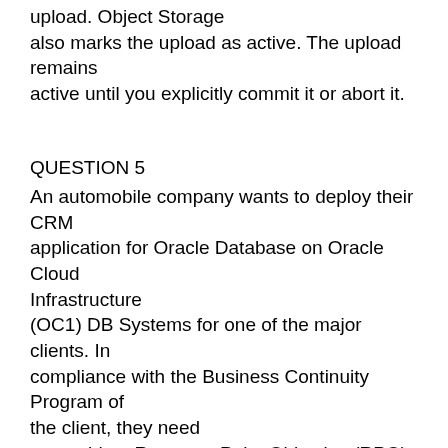upload. Object Storage also marks the upload as active. The upload remains active until you explicitly commit it or abort it.
QUESTION 5
An automobile company wants to deploy their CRM application for Oracle Database on Oracle Cloud Infrastructure (OC1) DB Systems for one of the major clients. In compliance with the Business Continuity Program of the client, they need to provide a Recovery Point Objective (RPO) of 24 hours and a Recovery time objective (RTO) of 24 hours and Recovery Time Objective (RTO) of 1 hour. The CRM application should be an available oven in my event that entire on The region is down. Which approach Is the most